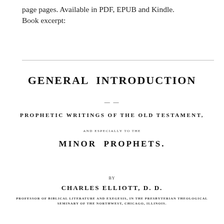page pages. Available in PDF, EPUB and Kindle. Book excerpt:
GENERAL INTRODUCTION
——
PROPHETIC WRITINGS OF THE OLD TESTAMENT,
AND ESPECIALLY TO THE
MINOR PROPHETS.
BY
CHARLES ELLIOTT, D. D.
PROFESSOR OF BIBLICAL LITERATURE AND EXEGESIS, IN THE PRESBYTERIAN THEOLOGICAL SEMINARY OF THE NORTHWEST, CHICAGO, ILLINOIS.